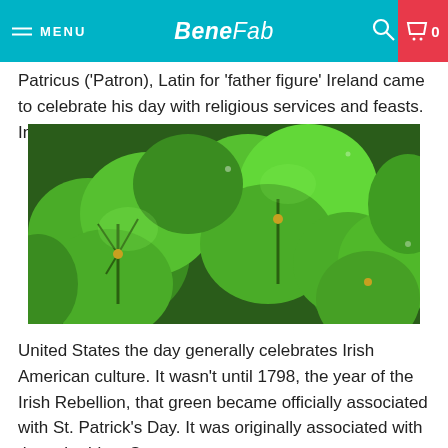MENU | BeneFab | 0
Patricus ('Patron), Latin for 'father figure' Ireland came to celebrate his day with religious services and feasts. In the
[Figure (photo): Close-up photograph of green clover/shamrock leaves with water droplets, vibrant green color on dark background]
United States the day generally celebrates Irish American culture. It wasn't until 1798, the year of the Irish Rebellion, that green became officially associated with St. Patrick's Day. It was originally associated with the color blue. St.